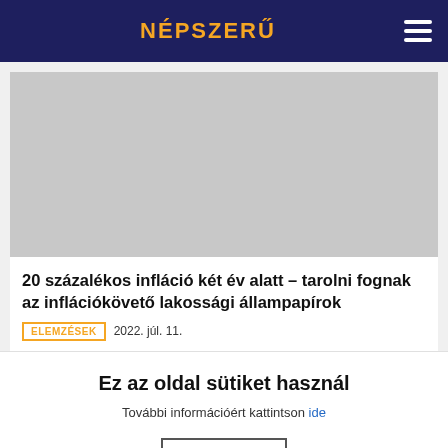NÉPSZERŰ
[Figure (other): Gray advertisement placeholder image]
20 százalékos infláció két év alatt – tarolni fognak az inflációkövető lakossági állampapírok
ELEMZÉSEK  2022. júl. 11.
Ez az oldal sütiket használ
További információért kattintson ide
Elfogadom